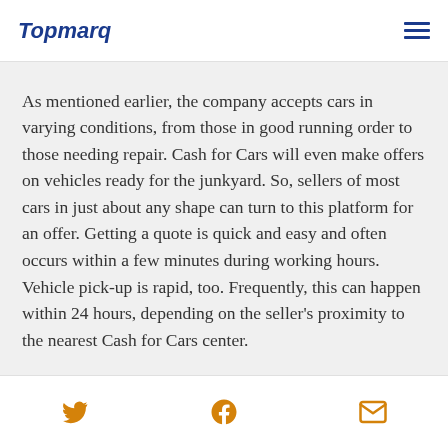Topmarq
As mentioned earlier, the company accepts cars in varying conditions, from those in good running order to those needing repair. Cash for Cars will even make offers on vehicles ready for the junkyard. So, sellers of most cars in just about any shape can turn to this platform for an offer. Getting a quote is quick and easy and often occurs within a few minutes during working hours. Vehicle pick-up is rapid, too. Frequently, this can happen within 24 hours, depending on the seller's proximity to the nearest Cash for Cars center.
Twitter | Facebook | Email social icons